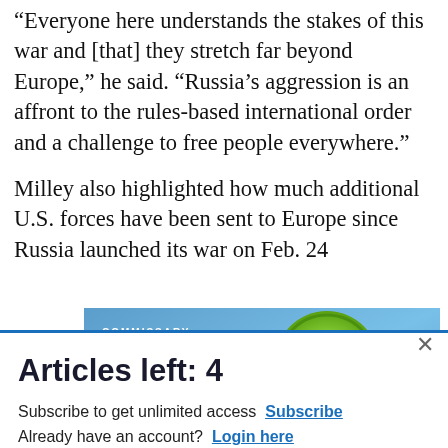“Everyone here understands the stakes of this war and [that] they stretch far beyond Europe,” he said. “Russia’s aggression is an affront to the rules-based international order and a challenge to free people everywhere.”
Milley also highlighted how much additional U.S. forces have been sent to Europe since Russia launched its war on Feb. 24
[Figure (screenshot): Advertisement banner for Commissary Click2Go showing green logo with text and Commissary badge logo on blue background]
Articles left: 4
Subscribe to get unlimited access  Subscribe
Already have an account?  Login here